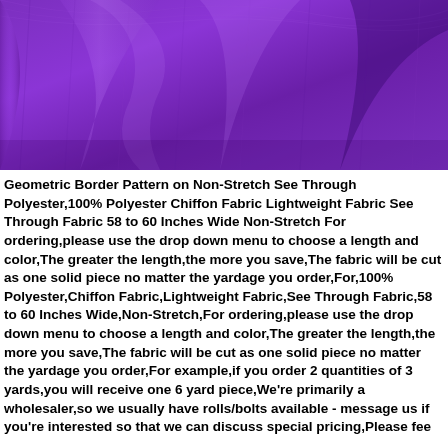[Figure (photo): Close-up photo of purple/violet lightweight chiffon fabric showing texture and drape]
Geometric Border Pattern on Non-Stretch See Through Polyester,100% Polyester Chiffon Fabric Lightweight Fabric See Through Fabric 58 to 60 Inches Wide Non-Stretch For ordering,please use the drop down menu to choose a length and color,The greater the length,the more you save,The fabric will be cut as one solid piece no matter the yardage you order,For,100% Polyester,Chiffon Fabric,Lightweight Fabric,See Through Fabric,58 to 60 Inches Wide,Non-Stretch,For ordering,please use the drop down menu to choose a length and color,The greater the length,the more you save,The fabric will be cut as one solid piece no matter the yardage you order,For example,if you order 2 quantities of 3 yards,you will receive one 6 yard piece,We're primarily a wholesaler,so we usually have rolls/bolts available - message us if you're interested so that we can discuss special pricing,Please fee